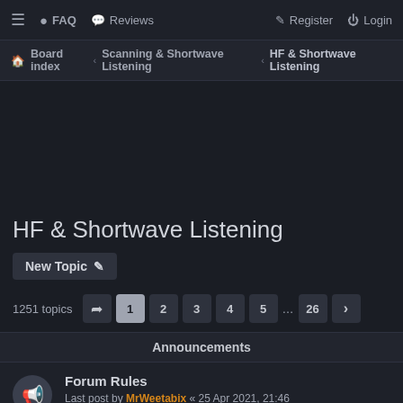≡  FAQ  Reviews  Register  Login
Board index › Scanning & Shortwave Listening › HF & Shortwave Listening
HF & Shortwave Listening
New Topic
1251 topics  1  2  3  4  5  ...  26  ›
Announcements
Forum Rules
Last post by MrWeetabix « 25 Apr 2021, 21:46
Posted in CB & 11m Multi-Mode Modification & Repair
Replies: 1